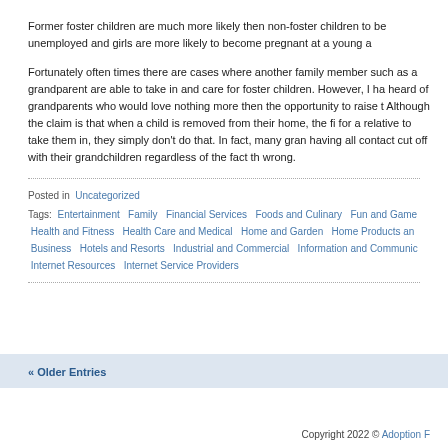Former foster children are much more likely then non-foster children to be unemployed and girls are more likely to become pregnant at a young a
Fortunately often times there are cases where another family member such as a grandparent are able to take in and care for foster children. However, I have heard of grandparents who would love nothing more then the opportunity to raise their grandchild. Although the claim is that when a child is removed from their home, the first priority is for a relative to take them in, they simply don't do that. In fact, many grandparents are having all contact cut off with their grandchildren regardless of the fact that they did nothing wrong.
Posted in  Uncategorized
Tags:  Entertainment  Family  Financial Services  Foods and Culinary  Fun and Games  Health and Fitness  Health Care and Medical  Home and Garden  Home Products and Business  Hotels and Resorts  Industrial and Commercial  Information and Communication  Internet Resources  Internet Service Providers
« Older Entries
Copyright 2022 © Adoption F